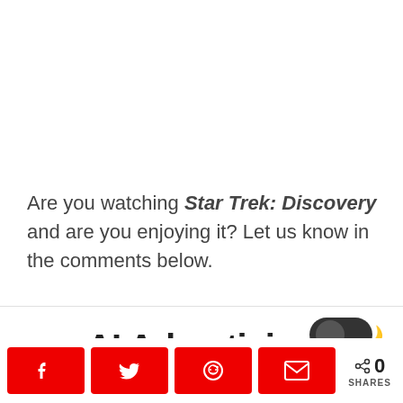Are you watching Star Trek: Discovery and are you enjoying it? Let us know in the comments below.
[Figure (screenshot): Partial view of an AI Advertising overlay/modal with a dark mode toggle icon and a close (x) button]
[Figure (infographic): Social share bar with Facebook, Twitter, Reddit, Email buttons (red) and a share count showing 0 SHARES]